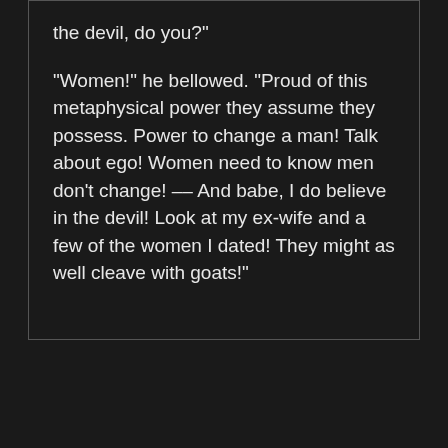the devil, do you?"
"Women!" he bellowed. "Proud of this metaphysical power they assume they possess. Power to change a man! Talk about ego! Women need to know men don't change! -- And babe, I do believe in the devil! Look at my ex-wife and a few of the women I dated! They might as well cleave with goats!"